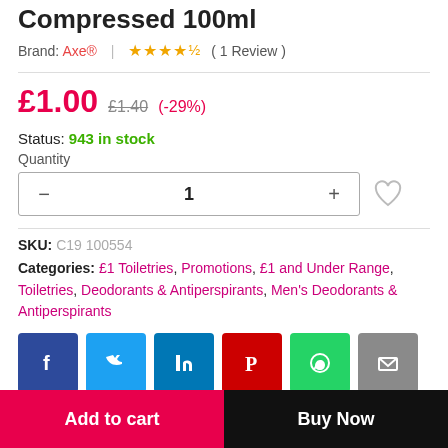Compressed 100ml
Brand: Axe® | ★★★★½ ( 1 Review )
£1.00  £1.40  (-29%)
Status: 943 in stock
Quantity
SKU: C19 100554
Categories: £1 Toiletries, Promotions, £1 and Under Range, Toiletries, Deodorants & Antiperspirants, Men's Deodorants & Antiperspirants
[Figure (other): Social media share buttons: Facebook, Twitter, LinkedIn, Pinterest, WhatsApp, Email]
Add to cart  Buy Now